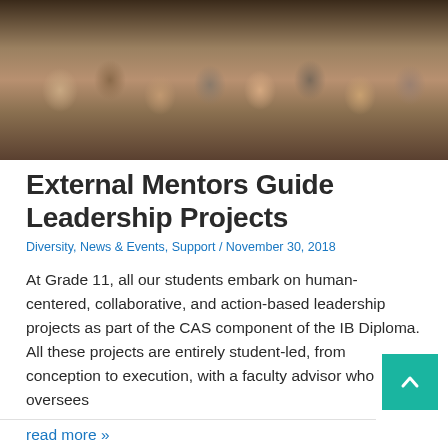[Figure (photo): Group photo of students and mentors gathered together, likely in a school setting, sitting and kneeling on the floor in a large group]
External Mentors Guide Leadership Projects
Diversity, News & Events, Support / November 30, 2018
At Grade 11, all our students embark on human-centered, collaborative, and action-based leadership projects as part of the CAS component of the IB Diploma. All these projects are entirely student-led, from conception to execution, with a faculty advisor who oversees
read more »